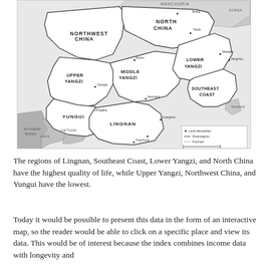[Figure (map): A black-and-white map of China divided into regions: Northwest China, North China, Upper Yangzi, Middle Yangzi, Lower Yangzi, Southeast Coast, Yungui, Lingnan, with surrounding areas including Manchuria, Korea, Taiwan, Vietnam, Laos, Burma. Cities and provincial boundaries are marked. Legend shows Local metropolises, Shownregions, Provinces.]
The regions of Lingnan, Southeast Coast, Lower Yangzi, and North China have the highest quality of life, while Upper Yangzi, Northwest China, and Yungui have the lowest.
Today it would be possible to present this data in the form of an interactive map, so the reader would be able to click on a specific place and view its data. This would be of interest because the index combines income data with longevity and